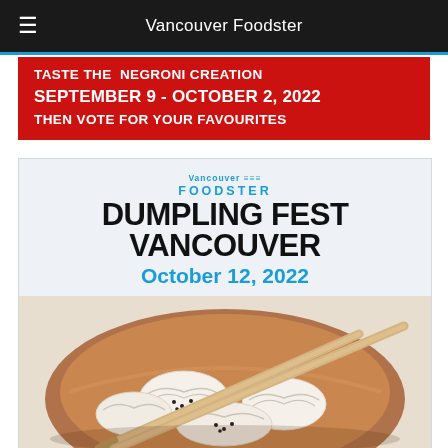≡   Vancouver Foodster
[Figure (other): Red banner advertisement: TASTE THE NEGRONI CREATION / SEPTEMBER 9 - OCTOBER 2, 2022 / THEN VOTE FOR YOUR FAVOURITES]
[Figure (other): Vancouver Foodster Dumpling Fest Vancouver promotional poster with dumplings in a wooden bowl with chopsticks. Date: October 12, 2022]